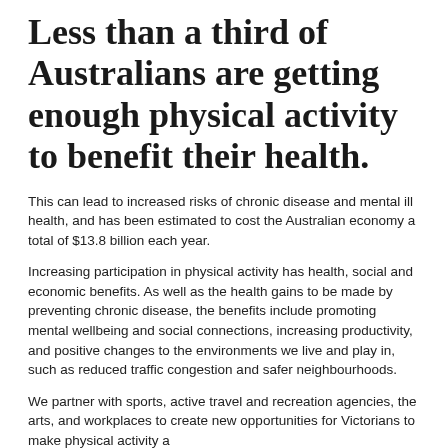Less than a third of Australians are getting enough physical activity to benefit their health.
This can lead to increased risks of chronic disease and mental ill health, and has been estimated to cost the Australian economy a total of $13.8 billion each year.
Increasing participation in physical activity has health, social and economic benefits. As well as the health gains to be made by preventing chronic disease, the benefits include promoting mental wellbeing and social connections, increasing productivity, and positive changes to the environments we live and play in, such as reduced traffic congestion and safer neighbourhoods.
We partner with sports, active travel and recreation agencies, the arts, and workplaces to create new opportunities for Victorians to make physical activity a